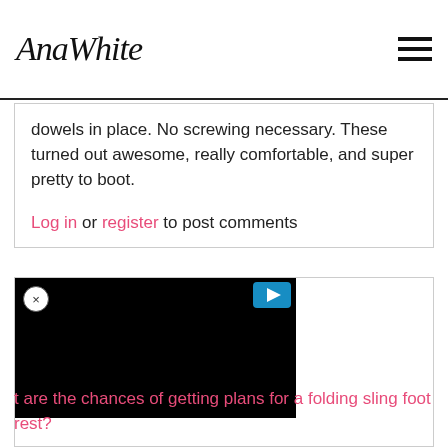AnaWhite
dowels in place. No screwing necessary. These turned out awesome, really comfortable, and super pretty to boot.
Log in or register to post comments
[Figure (screenshot): Video player with black screen and play button icon, partially visible in a bordered ad/content box with a close (x) button]
t are the chances of getting plans for a folding sling foot rest?